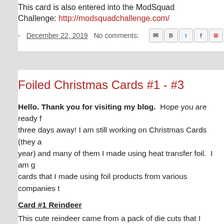This card is also entered into the ModSquad Challenge: http://modsquadchallenge.com/
- December 22, 2019   No comments:  [share icons]
Foiled Christmas Cards #1 - #3
Hello. Thank you for visiting my blog.  Hope you are ready for Christmas - only three days away! I am still working on Christmas Cards (they are due before the end of the year) and many of them I made using heat transfer foil.  I am going to share some cards that I made using foil products from various companies to
Card #1 Reindeer
This cute reindeer came from a pack of die cuts that I purchased at a local craft store. The sentiment is from Creative Vision Stamps. It is from their Christmas Banner set: Holiday Sentiments. For the sentiment, I used  gold Deco-Foil: https://www.brutusmonroe.com/products/deco-foil-tr